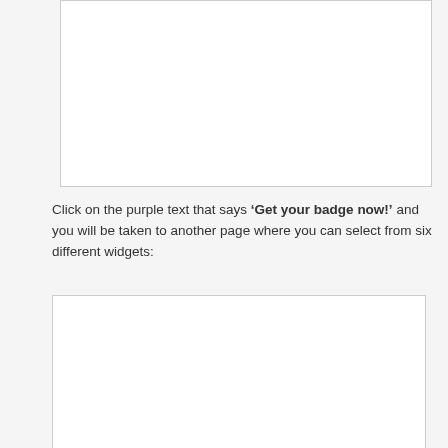[Figure (screenshot): Blank white screenshot placeholder at top of page]
Click on the purple text that says ‘Get your badge now!’ and you will be taken to another page where you can select from six different widgets:
[Figure (screenshot): Blank white screenshot placeholder at bottom of page]